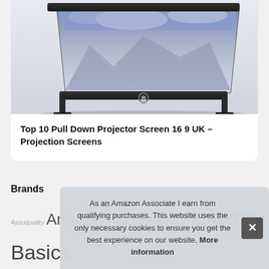[Figure (photo): Product photo of a pull-down projection screen mounted on a stand, showing a landscape/mountain scene on screen, photographed from a low angle against a light background.]
Top 10 Pull Down Projector Screen 16 9 UK – Projection Screens
Brands
4youquality Amazon AmazonBasics Amazon Basics Anker Apple Belkin BENEE Blu-ray BONTEC Sony Sennli Dur... JSAL... Log... Pa...
As an Amazon Associate I earn from qualifying purchases. This website uses the only necessary cookies to ensure you get the best experience on our website. More information